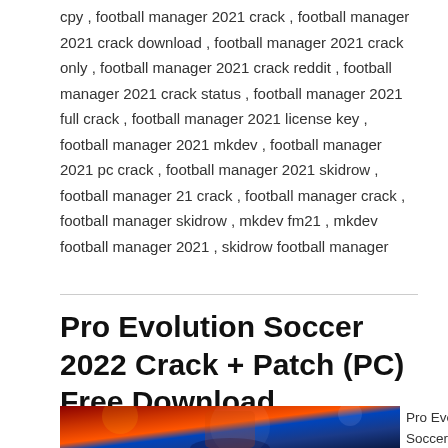cpy , football manager 2021 crack , football manager 2021 crack download , football manager 2021 crack only , football manager 2021 crack reddit , football manager 2021 crack status , football manager 2021 full crack , football manager 2021 license key , football manager 2021 mkdev , football manager 2021 pc crack , football manager 2021 skidrow , football manager 21 crack , football manager crack , football manager skidrow , mkdev fm21 , mkdev football manager 2021 , skidrow football manager
Pro Evolution Soccer 2022 Crack + Patch (PC) Free Download
[Figure (photo): Pro Evolution Soccer 2022 game cover art showing a soccer player raising hands in celebration against a blue and red background]
Pro Evolution Soccer Crack + Torrent (Mac) F...